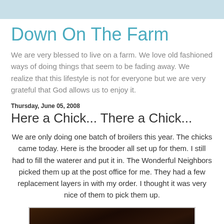Down On The Farm
We are very blessed to live on a farm. We love old fashioned ways of doing things that seem to be fading away. We realize that this lifestyle is not for everyone but we are very grateful that God allows us to enjoy it.
Thursday, June 05, 2008
Here a Chick... There a Chick...
We are only doing one batch of broilers this year. The chicks came today. Here is the brooder all set up for them. I still had to fill the waterer and put it in. The Wonderful Neighbors picked them up at the post office for me. They had a few replacement layers in with my order. I thought it was very nice of them to pick them up.
[Figure (photo): Dark photo of a brooder setup, partially visible at bottom of page]